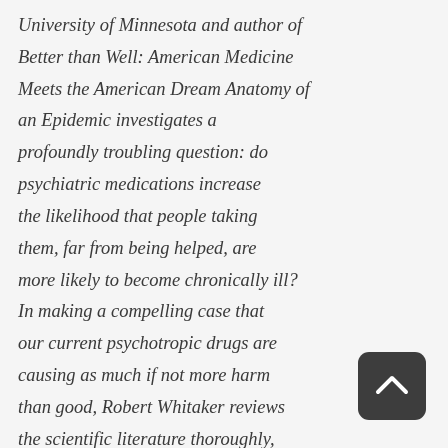University of Minnesota and author of Better than Well: American Medicine Meets the American Dream Anatomy of an Epidemic investigates a profoundly troubling question: do psychiatric medications increase the likelihood that people taking them, far from being helped, are more likely to become chronically ill? In making a compelling case that our current psychotropic drugs are causing as much if not more harm than good, Robert Whitaker reviews the scientific literature thoroughly, demonstrating how much of the
[Figure (other): Dark rounded square back/up navigation button with a white upward-pointing chevron arrow]